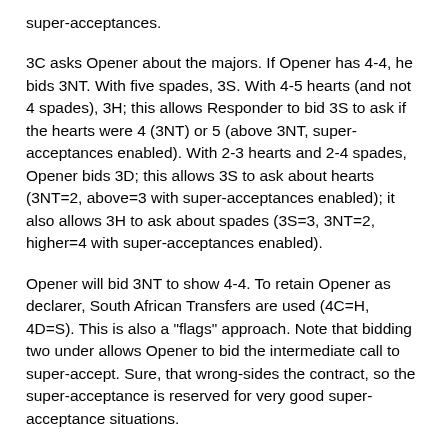super-acceptances.
3C asks Opener about the majors. If Opener has 4-4, he bids 3NT. With five spades, 3S. With 4-5 hearts (and not 4 spades), 3H; this allows Responder to bid 3S to ask if the hearts were 4 (3NT) or 5 (above 3NT, super-acceptances enabled). With 2-3 hearts and 2-4 spades, Opener bids 3D; this allows 3S to ask about hearts (3NT=2, above=3 with super-acceptances enabled); it also allows 3H to ask about spades (3S=3, 3NT=2, higher=4 with super-acceptances enabled).
Opener will bid 3NT to show 4-4. To retain Opener as declarer, South African Transfers are used (4C=H, 4D=S). This is also a "flags" approach. Note that bidding two under allows Opener to bid the intermediate call to super-accept. Sure, that wrong-sides the contract, so the super-acceptance is reserved for very good super-acceptance situations.
In practice, then, Opener rebids 3NT, Responder flags spades (4D), and Opener has a clear super-acceptance situation (4H) if he had opened the weaker 2NT direct. He